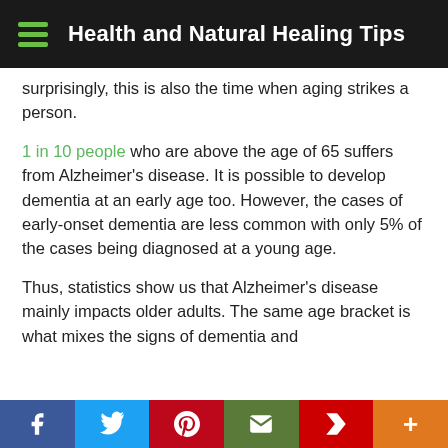Health and Natural Healing Tips
surprisingly, this is also the time when aging strikes a person.
1 in 10 people who are above the age of 65 suffers from Alzheimer's disease. It is possible to develop dementia at an early age too. However, the cases of early-onset dementia are less common with only 5% of the cases being diagnosed at a young age.
Thus, statistics show us that Alzheimer's disease mainly impacts older adults. The same age bracket is what mixes the signs of dementia and